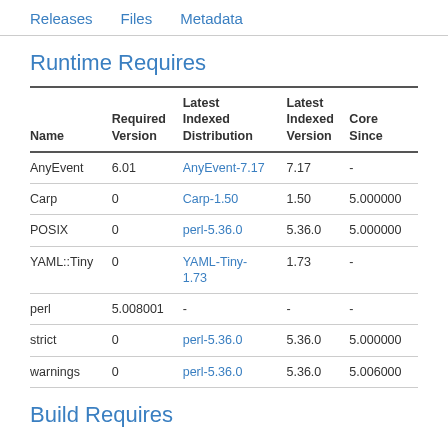Releases   Files   Metadata
Runtime Requires
| Name | Required Version | Latest Indexed Distribution | Latest Indexed Version | Core Since |
| --- | --- | --- | --- | --- |
| AnyEvent | 6.01 | AnyEvent-7.17 | 7.17 | - |
| Carp | 0 | Carp-1.50 | 1.50 | 5.000000 |
| POSIX | 0 | perl-5.36.0 | 5.36.0 | 5.000000 |
| YAML::Tiny | 0 | YAML-Tiny-1.73 | 1.73 | - |
| perl | 5.008001 | - | - | - |
| strict | 0 | perl-5.36.0 | 5.36.0 | 5.000000 |
| warnings | 0 | perl-5.36.0 | 5.36.0 | 5.006000 |
Build Requires